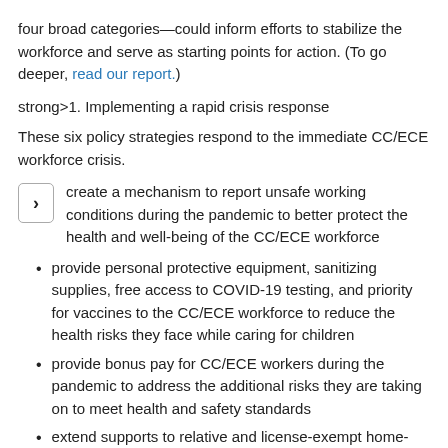four broad categories—could inform efforts to stabilize the workforce and serve as starting points for action. (To go deeper, read our report.)
strong>1. Implementing a rapid crisis response
These six policy strategies respond to the immediate CC/ECE workforce crisis.
create a mechanism to report unsafe working conditions during the pandemic to better protect the health and well-being of the CC/ECE workforce
provide personal protective equipment, sanitizing supplies, free access to COVID-19 testing, and priority for vaccines to the CC/ECE workforce to reduce the health risks they face while caring for children
provide bonus pay for CC/ECE workers during the pandemic to address the additional risks they are taking on to meet health and safety standards
extend supports to relative and license-exempt home-based